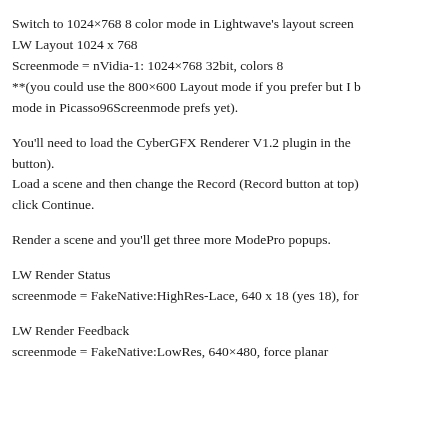Switch to 1024×768 8 color mode in Lightwave's layout screen
LW Layout 1024 x 768
Screenmode = nVidia-1: 1024×768 32bit, colors 8
**(you could use the 800×600 Layout mode if you prefer but I b mode in Picasso96Screenmode prefs yet).
You'll need to load the CyberGFX Renderer V1.2 plugin in the button).
Load a scene and then change the Record (Record button at top) click Continue.
Render a scene and you'll get three more ModePro popups.
LW Render Status
screenmode = FakeNative:HighRes-Lace, 640 x 18 (yes 18), for
LW Render Feedback
screenmode = FakeNative:LowRes, 640×480, force planar